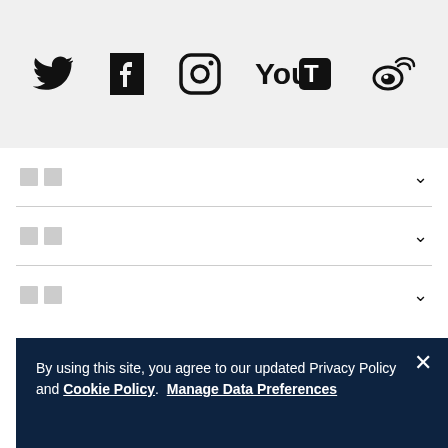[Figure (illustration): Social media icons row: Twitter bird, Facebook F, Instagram camera, YouTube logo, Weibo logo on light grey background]
□□  ∨
□□  ∨
□□  ∨
By using this site, you agree to our updated Privacy Policy and Cookie Policy. Manage Data Preferences